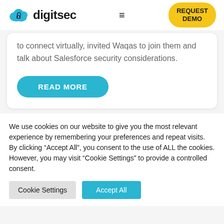[Figure (logo): Digitsec logo with cloud icon and text 'digitsec', hamburger menu icon, and yellow 'REQUEST DEMO' button in header]
to connect virtually, invited Waqas to join them and talk about Salesforce security considerations.
READ MORE
We use cookies on our website to give you the most relevant experience by remembering your preferences and repeat visits. By clicking "Accept All", you consent to the use of ALL the cookies. However, you may visit "Cookie Settings" to provide a controlled consent.
Cookie Settings
Accept All